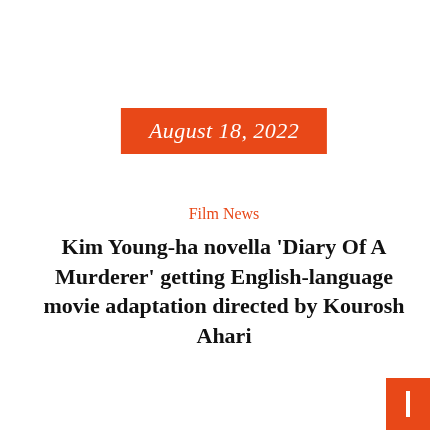August 18, 2022
Film News
Kim Young-ha novella 'Diary Of A Murderer' getting English-language movie adaptation directed by Kourosh Ahari